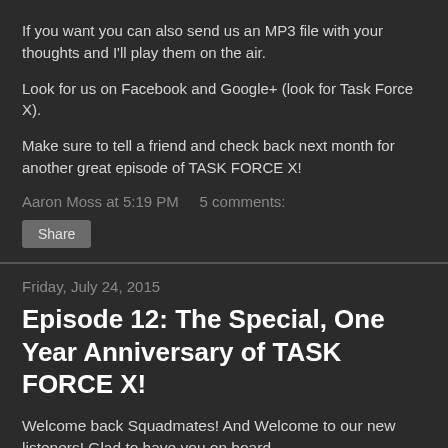If you want you can also send us an MP3 file with your thoughts and I'll play them on the air.
Look for us on Facebook and Google+ (look for Task Force X).
Make sure to tell a friend and check back next month for another great episode of TASK FORCE X!
Aaron Moss at 5:19 PM   5 comments:
Share
Friday, July 24, 2015
Episode 12: The Special, One Year Anniversary of TASK FORCE X!
Welcome back Squadmates!  And Welcome to our new listeners!  Glad to have you on board.
Well here it is... Episode 12: The Special One Year